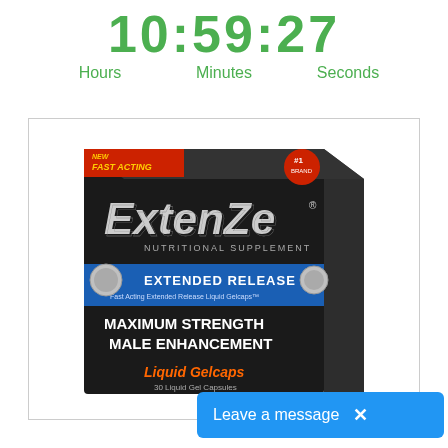10:59:27
Hours   Minutes   Seconds
[Figure (photo): ExtenZe product box — New Fast Acting, #1 Brand, ExtenZe Nutritional Supplement, Extended Release, Maximum Strength Male Enhancement, Liquid Gelcaps, 30 Liquid Gel Capsules]
Leave a message  ×